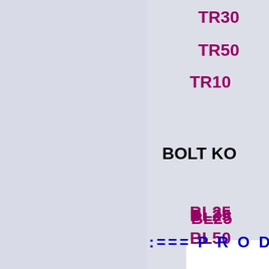TR3...
TR5...
TR10...
BOLT KO...
BL25...
BL50...
BL10...
BL150...
BL200...
:=== P R O D U K  P...